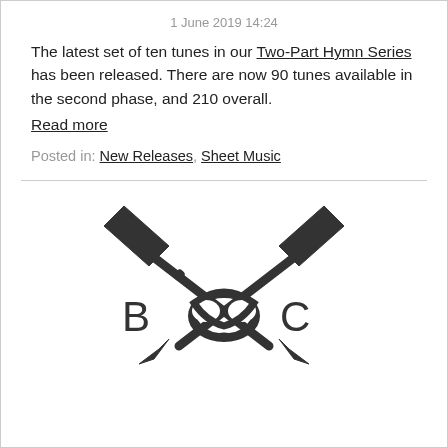1 June 2019 14:24
The latest set of ten tunes in our Two-Part Hymn Series has been released. There are now 90 tunes available in the second phase, and 210 overall.
Read more
Posted in: New Releases, Sheet Music
[Figure (logo): B&C logo with two crossed trumpets and decorative knotwork, letters B and C on either side]